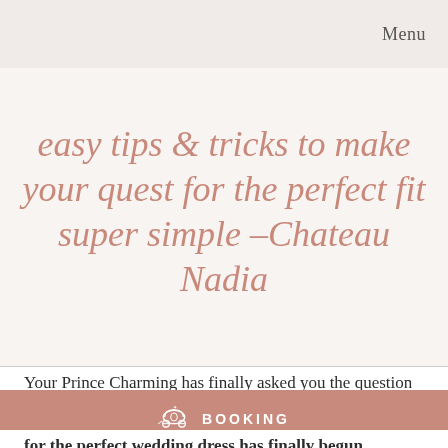Menu
easy tips & tricks to make your quest for the perfect fit super simple –Chateau Nadia
Your Prince Charming has finally asked you the question and you are so excited to get married. You've already started to...
[Figure (infographic): Booking button bar with carriage icon and BOOKING text]
for the perfect wedding dress has finally begun.